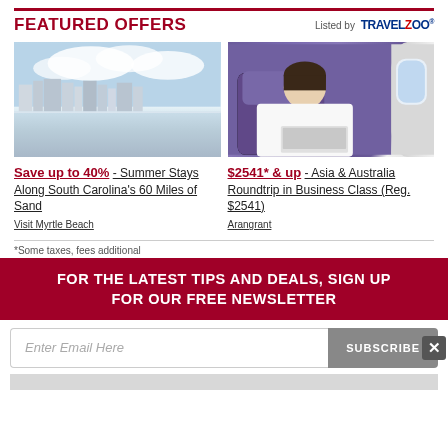FEATURED OFFERS
Listed by TRAVELZOO
[Figure (photo): Beach with hotel buildings reflected in wet sand under cloudy sky — Myrtle Beach, South Carolina]
[Figure (photo): Woman smiling in purple business class airplane seat with laptop]
Save up to 40% - Summer Stays Along South Carolina's 60 Miles of Sand
Visit Myrtle Beach
$2541* & up - Asia & Australia Roundtrip in Business Class (Reg. $2541)
Arangrant
*Some taxes, fees additional
FOR THE LATEST TIPS AND DEALS, SIGN UP FOR OUR FREE NEWSLETTER
Enter Email Here
SUBSCRIBE